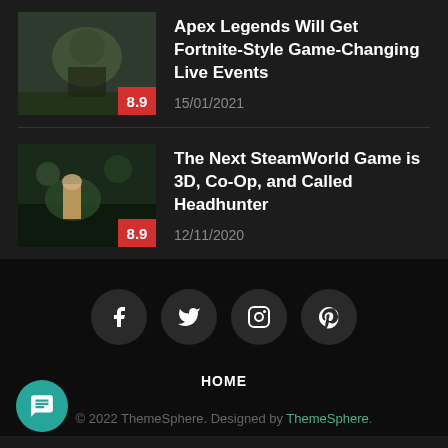Apex Legends Will Get Fortnite-Style Game-Changing Live Events
15/01/2021
The Next SteamWorld Game is 3D, Co-Op, and Called Headhunter
12/11/2020
[Figure (other): Social media icons: Facebook, Twitter, Instagram, Pinterest]
HOME
© 2022 ThemeSphere. Designed by ThemeSphere.